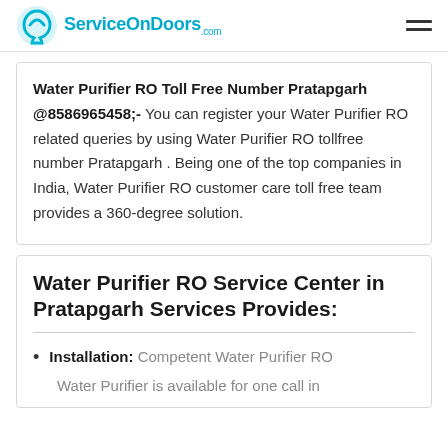ServiceOnDoors.com
Water Purifier RO Toll Free Number Pratapgarh @8586965458;- You can register your Water Purifier RO related queries by using Water Purifier RO tollfree number Pratapgarh . Being one of the top companies in India, Water Purifier RO customer care toll free team provides a 360-degree solution.
Water Purifier RO Service Center in Pratapgarh Services Provides:
Installation: Competent Water Purifier RO
Water Purifier is available for one call in